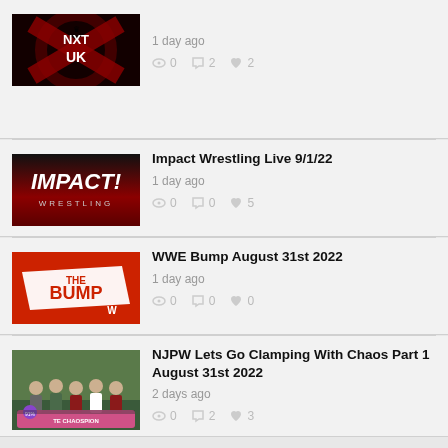[Figure (screenshot): NXT UK logo thumbnail (partial, top of page)]
1 day ago
0  2  2
[Figure (screenshot): Impact Wrestling logo thumbnail]
Impact Wrestling Live 9/1/22
1 day ago
0  0  5
[Figure (screenshot): WWE The Bump logo thumbnail]
WWE Bump August 31st 2022
1 day ago
0  0  0
[Figure (screenshot): NJPW Lets Go Clamping with Chaos thumbnail]
NJPW Lets Go Clamping With Chaos Part 1 August 31st 2022
2 days ago
0  2  3